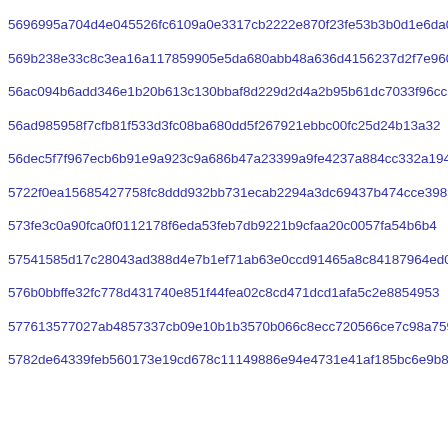5696995a704d4e045526fc6109a0e3317cb2222e870f23fe53b3b0d1e6da0
569b238e33c8c3ea16a117859905e5da680abb48a636d4156237d2f7e9602
56ac094b6add346e1b20b613c130bbaf8d229d2d4a2b95b61dc7033f96cc1
56ad985958f7cfb81f533d3fc08ba680dd5f267921ebbc00fc25d24b13a32
56dec5f7f967ecb6b91e9a923c9a686b47a23399a9fe4237a884cc332a194
5722f0ea15685427758fc8ddd932bb731ecab2294a3dc69437b474cce3989
573fe3c0a90fca0f0112178f6eda53feb7db9221b9cfaa20c0057fa54b6b4
57541585d17c28043ad388d4e7b1ef71ab63e0ccd91465a8c84187964ed04
576b0bbffe32fc778d431740e851f44fea02c8cd471dcd1afa5c2e8854953
577613577027ab4857337cb09e10b1b3570b066c8ecc720566ce7c98a7594
5782de64339feb560173e19cd678c11149886e94e4731e41af185bc6e9b88